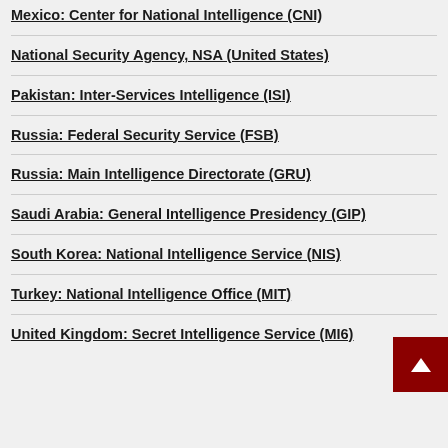Mexico: Center for National Intelligence (CNI)
National Security Agency, NSA (United States)
Pakistan: Inter-Services Intelligence (ISI)
Russia: Federal Security Service (FSB)
Russia: Main Intelligence Directorate (GRU)
Saudi Arabia: General Intelligence Presidency (GIP)
South Korea: National Intelligence Service (NIS)
Turkey: National Intelligence Office (MIT)
United Kingdom: Secret Intelligence Service (MI6)